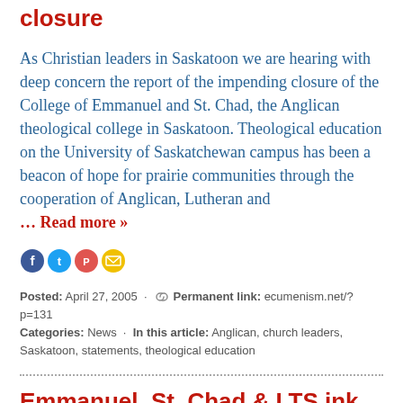closure
As Christian leaders in Saskatoon we are hearing with deep concern the report of the impending closure of the College of Emmanuel and St. Chad, the Anglican theological college in Saskatoon. Theological education on the University of Saskatchewan campus has been a beacon of hope for prairie communities through the cooperation of Anglican, Lutheran and
… Read more »
[Figure (infographic): Social share icons: Facebook (blue circle), Twitter (blue circle), Pocket (red circle), Email (yellow circle)]
Posted: April 27, 2005 · Permanent link: ecumenism.net/?p=131
Categories: News · In this article: Anglican, church leaders, Saskatoon, statements, theological education
Emmanuel, St. Chad & LTS ink